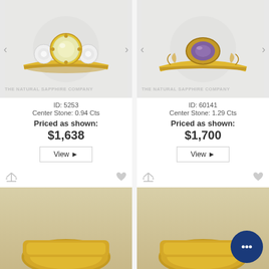[Figure (photo): Yellow gold three-stone ring with pale yellow center gemstone flanked by two white diamonds. Product ID 5253. Watermark: THE NATURAL SAPPHIRE COMPANY.]
ID: 5253
Center Stone: 0.94 Cts
Priced as shown:
$1,638
View ▶
[Figure (photo): Yellow gold filigree ring with oval purple/alexandrite center stone. Product ID 60141. Watermark: THE NATURAL SAPPHIRE COMPANY.]
ID: 60141
Center Stone: 1.29 Cts
Priced as shown:
$1,700
View ▶
[Figure (photo): Partial view of a yellow gold ring (bottom portion cut off) with compare and favorite icons visible.]
[Figure (photo): Partial view of a yellow gold ring (bottom portion cut off) with compare and favorite icons visible. Chat bubble overlay icon in lower right corner.]